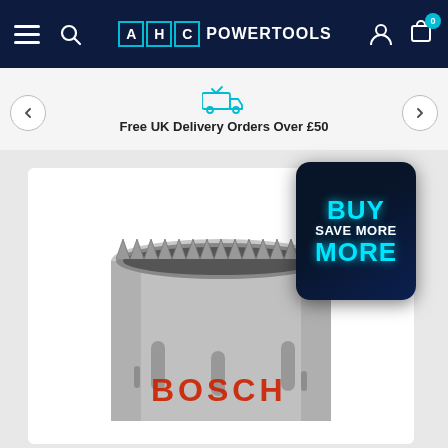AHC POWERTOOLS
Free UK Delivery Orders Over £50
[Figure (photo): Bosch hole saw / bi-metal holesaw with serrated teeth visible at top, product label showing BOSCH in red lettering on grey cylindrical body]
[Figure (infographic): Dark navy rounded square badge with BUY MORE SAVE MORE text in cyan and white]